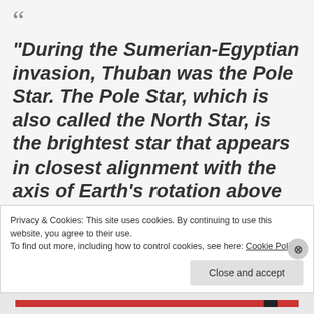“During the Sumerian-Egyptian invasion, Thuban was the Pole Star. The Pole Star, which is also called the North Star, is the brightest star that appears in closest alignment with the axis of Earth’s rotation above the northern celestial pole.
Privacy & Cookies: This site uses cookies. By continuing to use this website, you agree to their use.
To find out more, including how to control cookies, see here: Cookie Policy